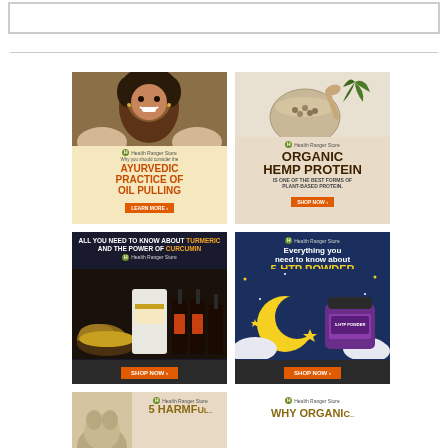[Figure (illustration): Empty white banner box at the top]
[Figure (illustration): Health Ranger Store ad: Why you should consider the Ayurvedic Practice of Oil Pulling - Learn More button]
[Figure (illustration): Health Ranger Store ad: Organic Hemp Protein is one of the best forms of plant-based protein - Shop Now button]
[Figure (illustration): Health Ranger Store ad: All you need to know about Turmeric and the Power of Curcumin - Shop Now button]
[Figure (illustration): Health Ranger Store ad: Everything you need to know about 5-HTP Powder - Shop Now button]
[Figure (illustration): Health Ranger Store partial ad bottom-left: 5-HTP or similar supplement]
[Figure (illustration): Health Ranger Store partial ad bottom-right: Why Organic]